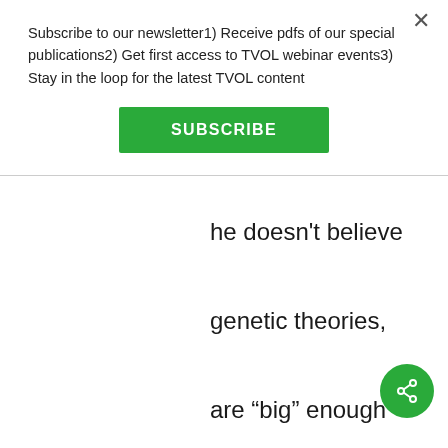Subscribe to our newsletter1) Receive pdfs of our special publications2) Get first access to TVOL webinar events3) Stay in the loop for the latest TVOL content
SUBSCRIBE
he doesn't believe genetic theories, are “big” enough to explain the widespread nature of religion – and that a successful explanation needs